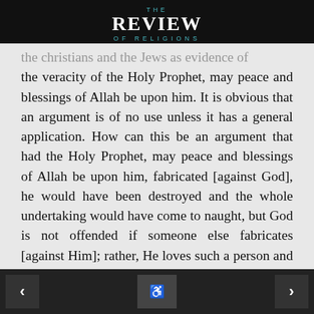THE REVIEW OF RELIGIONS
the christians and the Jews as evidence of the veracity of the Holy Prophet, may peace and blessings of Allah be upon him. It is obvious that an argument is of no use unless it has a general application. How can this be an argument that had the Holy Prophet, may peace and blessings of Allah be upon him, fabricated [against God], he would have been destroyed and the whole undertaking would have come to naught, but God is not offended if someone else fabricates [against Him]; rather, He loves such a person and grants him respite more than He did to the Holy Prophet, may peace and blessings of Allah be upon him, and even helps and supports him! This should not be called an argument
< search >